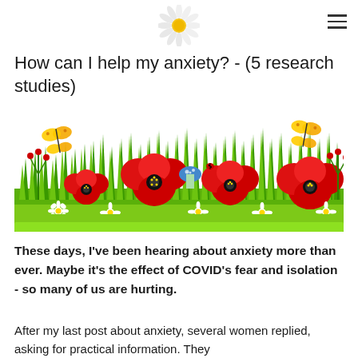[daisy flower icon] [hamburger menu]
How can I help my anxiety? - (5 research studies)
[Figure (illustration): Colorful cartoon garden illustration with green grass, red poppies, white daisies, yellow and orange butterflies, a blue mushroom, and red berries on a bright green meadow background.]
These days, I've been hearing about anxiety more than ever. Maybe it's the effect of COVID's fear and isolation - so many of us are hurting.
After my last post about anxiety, several women replied, asking for practical information. They